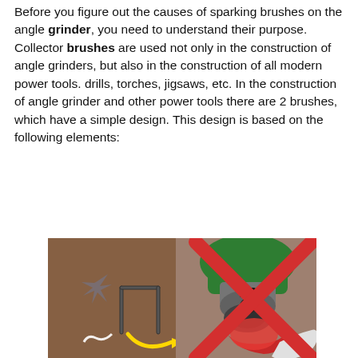Before you figure out the causes of sparking brushes on the angle grinder, you need to understand their purpose. Collector brushes are used not only in the construction of angle grinders, but also in the construction of all modern power tools. drills, torches, jigsaws, etc. In the construction of angle grinder and other power tools there are 2 brushes, which have a simple design. This design is based on the following elements:
[Figure (photo): Photo of an angle grinder being used on a surface, with a yellow arrow pointing to a component and a large red X overlaid on part of the image indicating a wrong or dangerous action.]